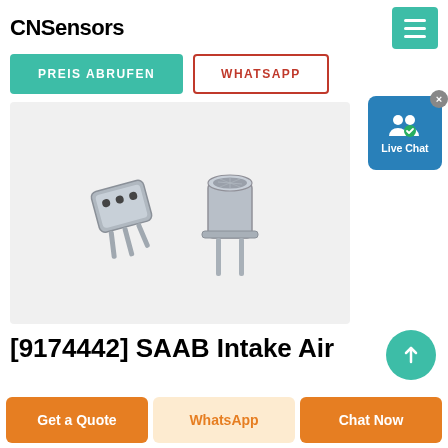CNSensors
PREIS ABRUFEN
WHATSAPP
[Figure (photo): Two small metallic electronic sensors/components (TO-18 or similar transistor cans) with metal pins, shown side by side against a white background. Left component faces front showing three pins; right component is upright showing cylindrical metal body with mesh top.]
[9174442] SAAB Intake Air
Get a Quote
WhatsApp
Chat Now